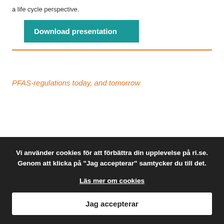a life cycle perspective.
Download presentation
PFAS-regulations today, and tomorrow
Vi använder cookies för att förbättra din upplevelse på ri.se. Genom att klicka på "Jag accepterar" samtycker du till det.
Läs mer om cookies
Jag accepterar